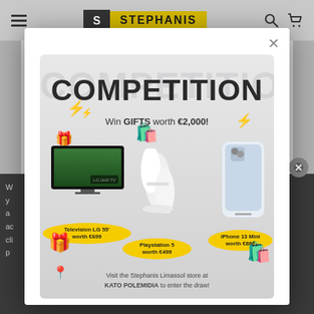Stephanis - Navigation bar with logo, search and cart icons
[Figure (screenshot): Modal popup on Stephanis website showing a competition to win gifts worth €2,000. Prizes include Television LG 55' worth €699, Playstation 5 worth €499, and iPhone 13 Mini worth €889. Visit the Stephanis Limassol store at KATO POLEMIDIA to enter the draw.]